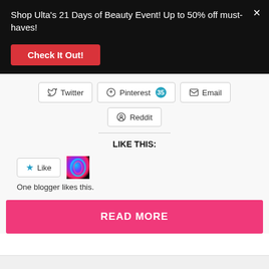Shop Ulta's 21 Days of Beauty Event! Up to 50% off must-haves!
Check It Out!
Twitter
Pinterest 35
Email
Reddit
LIKE THIS:
Like
One blogger likes this.
READ MORE